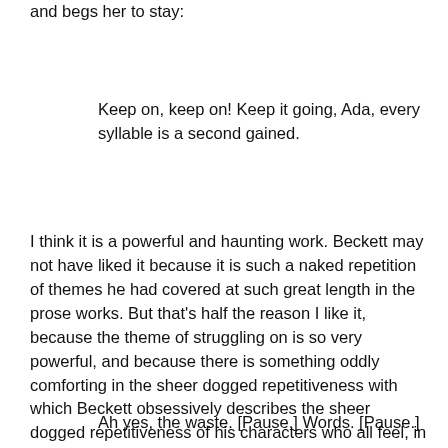and begs her to stay:
Keep on, keep on! Keep it going, Ada, every syllable is a second gained.
I think it is a powerful and haunting work. Beckett may not have liked it because it is such a naked repetition of themes he had covered at such great length in the prose works. But that's half the reason I like it, because the theme of struggling on is so very powerful, and because there is something oddly comforting in the sheer dogged repetitiveness with which Beckett obsessively describes the sheer dogged repetitiveness of his characters who all feel, in the end, like the same character, saying the same thing, endlessly…
Ah yes, the waste. [Pause.] Words. [Pause.]